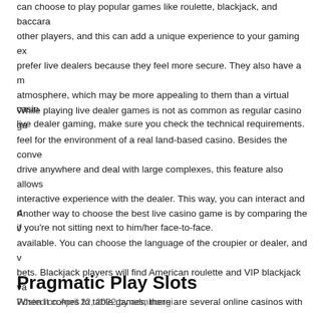can choose to play popular games like roulette, blackjack, and baccara... other players, and this can add a unique experience to your gaming ex... prefer live dealers because they feel more secure. They also have a m... atmosphere, which may be more appealing to them than a virtual casin... live dealer gaming, make sure you check the technical requirements.
While playing live dealer games is not as common as regular casino ga... feel for the environment of a real land-based casino. Besides the conve... drive anywhere and deal with large complexes, this feature also allows ... interactive experience with the dealer. This way, you can interact and d... if you're not sitting next to him/her face-to-face.
Another way to choose the best live casino game is by comparing the v... available. You can choose the language of the croupier or dealer, and v... bets. Blackjack players will find American roulette and VIP blackjack va... When it comes to table games, there are several online casinos with m... variations of each. For example, American roulette has different rules th...
Pragmatic Play Slots
Posted on April 22, 2022 by adminongi